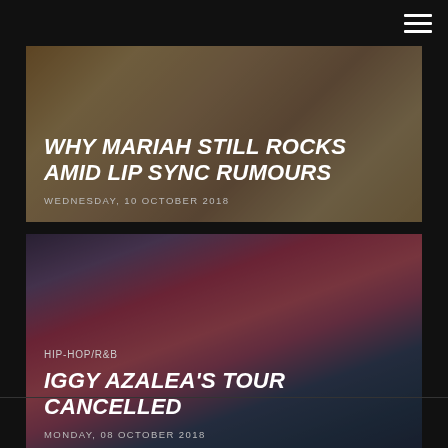[Figure (screenshot): Hamburger menu icon (three white lines) in top right corner]
[Figure (photo): Photo of Mariah Carey performing on stage, blonde hair, pink outfit, with dark overlay]
WHY MARIAH STILL ROCKS AMID LIP SYNC RUMOURS
WEDNESDAY, 10 OCTOBER 2018
[Figure (photo): Photo of Iggy Azalea performing on stage, holding microphone, red and blue outfit, arm raised, with dark overlay]
HIP-HOP/R&B
IGGY AZALEA'S TOUR CANCELLED
MONDAY, 08 OCTOBER 2018